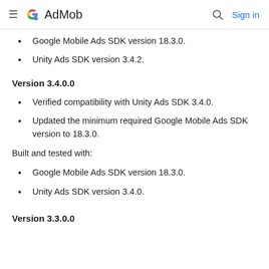Google AdMob
Google Mobile Ads SDK version 18.3.0.
Unity Ads SDK version 3.4.2.
Version 3.4.0.0
Verified compatibility with Unity Ads SDK 3.4.0.
Updated the minimum required Google Mobile Ads SDK version to 18.3.0.
Built and tested with:
Google Mobile Ads SDK version 18.3.0.
Unity Ads SDK version 3.4.0.
Version 3.3.0.0